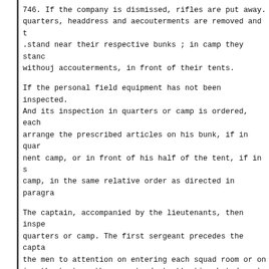746. If the company is dismissed, rifles are put away. quarters, headdress and aecouterments are removed and t .stand near their respective bunks ; in camp they stanc withouj accouterments, in front of their tents.
If the personal field equipment has not been inspected. And its inspection in quarters or camp is ordered, each arrange the prescribed articles on his bunk, if in quar nent camp, or in front of his half of the tent, if in s camp, in the same relative order as directed in paragra
The captain, accompanied by the lieutenants, then inspe quarters or camp. The first sergeant precedes the capta the men to attention on entering each squad room or on ing the tents ; the men stand at attention but do not s
747. If the inspection is to include an examination of equipment while in ranks, the captain, after closing ra the company to stack arms, to march backward until 4 pa rear of the stacks and to take intervals. He then comma 1. UMSUMG EQUIPMENT. 2. OPEN PACKS.
At the firs^ command, each man unslings his equipment a places it on the ground at his feet, haversack to the f the pack 1 foot in front of toes.
At the second command, pack carriers are unstrapped, pa removed and unrolled, the longer edge of the pack along edge of the cartridge belt. Each man exposes shelter te